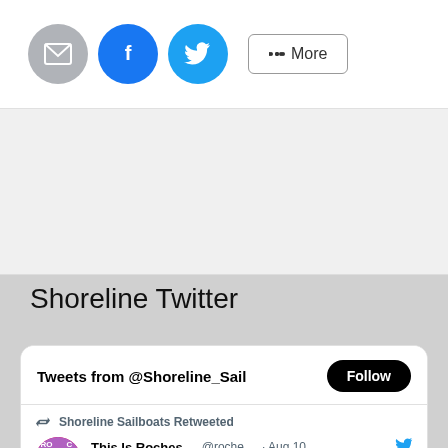[Figure (screenshot): Share buttons: email (gray circle), Facebook (blue circle), Twitter (blue circle), More button]
[Figure (other): Gray/white advertisement or empty content area]
Shoreline Twitter
[Figure (screenshot): Twitter widget showing Tweets from @Shoreline_Sail with a Follow button. Shoreline Sailboats Retweeted: This Is Roches... @roche... Aug 10 - Last light on #LakeOntario [sun emojis] #thisisroc [camera emoji]: Hans B. @I_LOVE_NY @VisitRochester #roc - with sunset photo at bottom.]